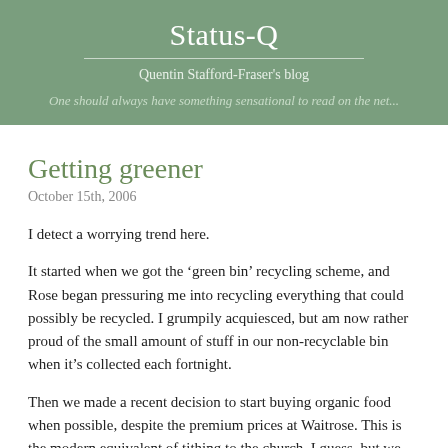Status-Q
Quentin Stafford-Fraser's blog
One should always have something sensational to read on the net...
Getting greener
October 15th, 2006
I detect a worrying trend here.
It started when we got the ‘green bin’ recycling scheme, and Rose began pressuring me into recycling everything that could possibly be recycled. I grumpily acquiesced, but am now rather proud of the small amount of stuff in our non-recyclable bin when it’s collected each fortnight.
Then we made a recent decision to start buying organic food when possible, despite the premium prices at Waitrose. This is the modern equivalent of tithing to the church, I guess, but we think of it as one of